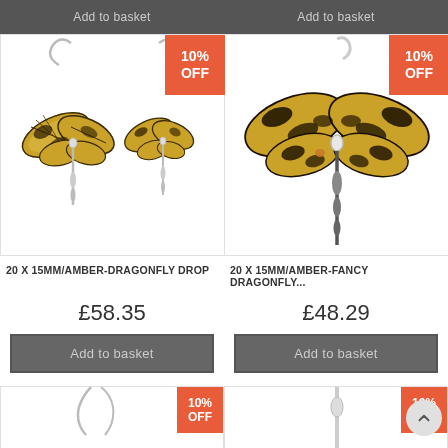[Figure (photo): Add to basket button (top left, dark grey)]
[Figure (photo): Add to basket button (top right, dark grey)]
[Figure (photo): Left product: Two dragonfly drop earrings in amber/yellow with black markings on silver hooks, with 10% OFF orange badge]
20 X 15MM/AMBER-DRAGONFLY DROP
£58.35
Add to basket
[Figure (photo): Right product: Single large dragonfly pendant in amber/yellow with black markings on silver, with 10% OFF orange badge]
20 X 15MM/AMBER-FANCY DRAGONFLY...
£48.29
Add to basket
[Figure (photo): Bottom left partial product image with 10% OFF badge]
[Figure (photo): Bottom right partial product image with 10% OFF badge]